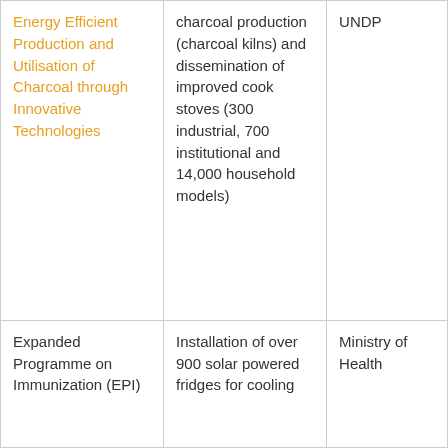| Energy Efficient Production and Utilisation of Charcoal through Innovative Technologies | charcoal production (charcoal kilns) and dissemination of improved cook stoves (300 industrial, 700 institutional and 14,000 household models) | UNDP |
| Expanded Programme on Immunization (EPI) | Installation of over 900 solar powered fridges for cooling | Ministry of Health |